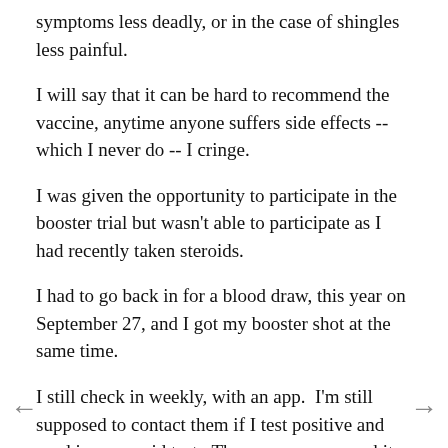symptoms less deadly, or in the case of shingles less painful.
I will say that it can be hard to recommend the vaccine, anytime anyone suffers side effects -- which I never do -- I cringe.
I was given the opportunity to participate in the booster trial but wasn't able to participate as I had recently taken steroids.
I had to go back in for a blood draw, this year on September 27, and I got my booster shot at the same time.
I still check in weekly, with an app.  I'm still supposed to contact them if I test positive and send in my covid test.  They gave me a new kit the last time I was there.